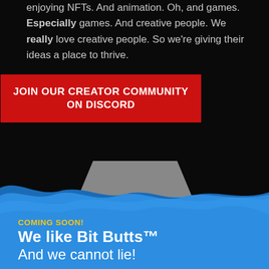enjoying NFTs. And animation. Oh, and games. Especially games. And creative people. We really love creative people. So we're giving their ideas a place to thrive.
[Figure (other): Red button/banner reading JOIN OUR CREATOR COMMUNITY ON DISCORD]
[Figure (illustration): Blue wave section with a gray trapezoidal platform shape emerging from black background into blue water/wave area]
COMING SOON!
We like Bit Butts™
And we cannot lie!